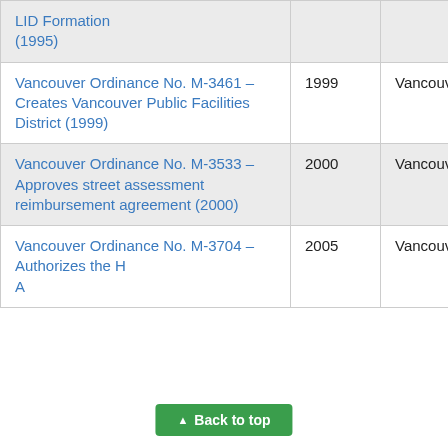| Document | Year | Jurisdiction |
| --- | --- | --- |
| LID Formation (1995) |  |  |
| Vancouver Ordinance No. M-3461 – Creates Vancouver Public Facilities District (1999) | 1999 | Vancouver |
| Vancouver Ordinance No. M-3533 – Approves street assessment reimbursement agreement (2000) | 2000 | Vancouver |
| Vancouver Ordinance No. M-3704 – Authorizes the H... A... | 2005 | Vancouver |